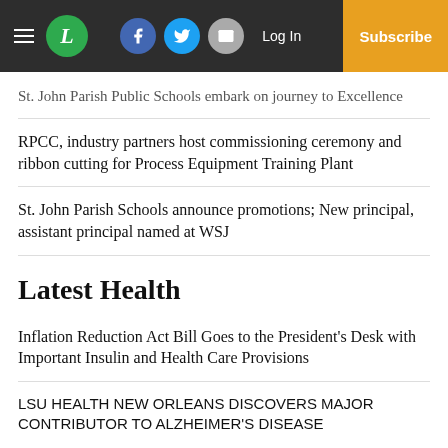L | Log In | Subscribe
St. John Parish Public Schools embark on journey to Excellence
RPCC, industry partners host commissioning ceremony and ribbon cutting for Process Equipment Training Plant
St. John Parish Schools announce promotions; New principal, assistant principal named at WSJ
Latest Health
Inflation Reduction Act Bill Goes to the President's Desk with Important Insulin and Health Care Provisions
LSU HEALTH NEW ORLEANS DISCOVERS MAJOR CONTRIBUTOR TO ALZHEIMER'S DISEASE